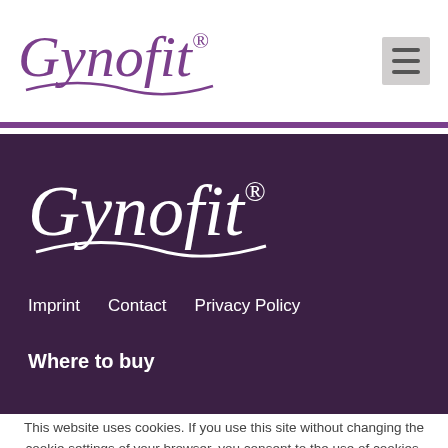[Figure (logo): Gynofit logo in purple at top header]
[Figure (logo): Gynofit logo in white on dark purple background]
Imprint
Contact
Privacy Policy
Where to buy
This website uses cookies. If you use this site without changing the cookie settings of your browser, you consent to the use of cookies.
OK